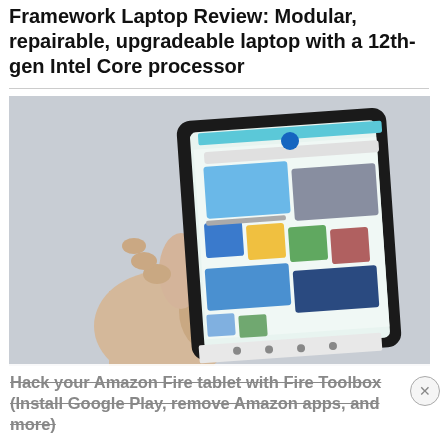Framework Laptop Review: Modular, repairable, upgradeable laptop with a 12th-gen Intel Core processor
[Figure (photo): A hand holding a tablet (Amazon Fire) displaying the Google Play Store app grid, held against a light grey background.]
Hack your Amazon Fire tablet with Fire Toolbox (Install Google Play, remove Amazon apps, and more)